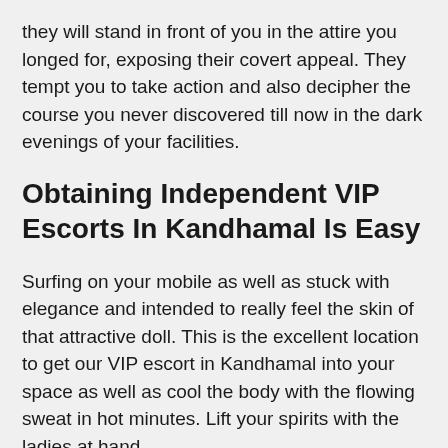they will stand in front of you in the attire you longed for, exposing their covert appeal. They tempt you to take action and also decipher the course you never discovered till now in the dark evenings of your facilities.
Obtaining Independent VIP Escorts In Kandhamal Is Easy
Surfing on your mobile as well as stuck with elegance and intended to really feel the skin of that attractive doll. This is the excellent location to get our VIP escort in Kandhamal into your space as well as cool the body with the flowing sweat in hot minutes. Lift your spirits with the ladies at hand.